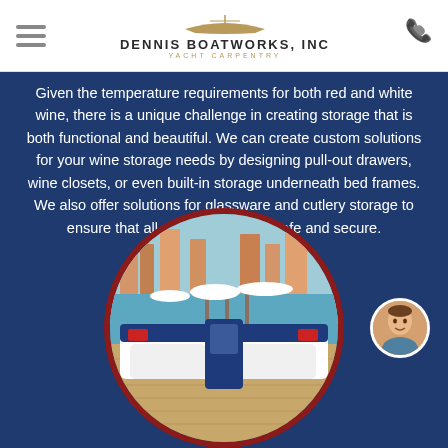Dennis Boatworks, Inc — Yacht Carpentry
Given the temperature requirements for both red and white wine, there is a unique challenge in creating storage that is both functional and beautiful. We can create custom solutions for your wine storage needs by designing pull-out drawers, wine closets, or even built-in storage underneath bed frames. We also offer solutions for glassware and cutlery storage to ensure that all of your items are safe and secure.
[Figure (photo): Circular framed photo of a yacht deck with blue and white cushioned seating, with a marina visible in the background]
[Figure (photo): Small circular avatar photo of a person (man)]